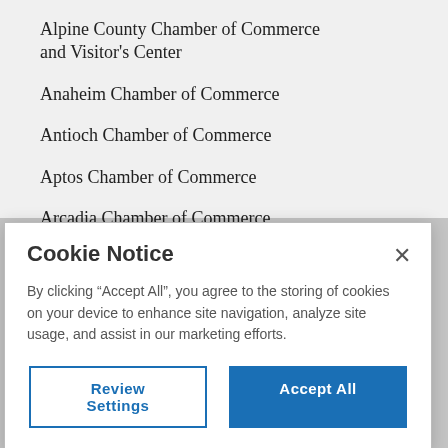Alpine County Chamber of Commerce and Visitor's Center
Anaheim Chamber of Commerce
Antioch Chamber of Commerce
Aptos Chamber of Commerce
Arcadia Chamber of Commerce
Associated General Contractors of CA
Cookie Notice
By clicking “Accept All”, you agree to the storing of cookies on your device to enhance site navigation, analyze site usage, and assist in our marketing efforts.
Review Settings
Accept All